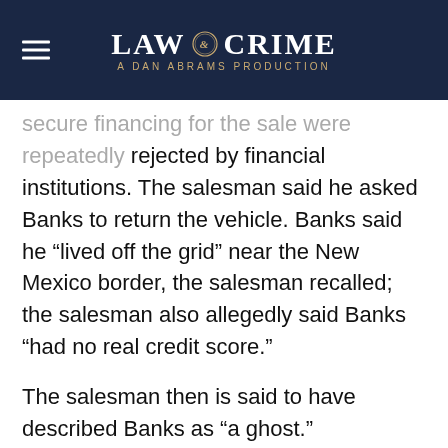LAW & CRIME — A DAN ABRAMS PRODUCTION
secure financing for the sale were repeatedly rejected by financial institutions. The salesman said he asked Banks to return the vehicle. Banks said he “lived off the grid” near the New Mexico border, the salesman recalled; the salesman also allegedly said Banks “had no real credit score.”
The salesman then is said to have described Banks as “a ghost.”
The salesman also said the Walmart security footage appeared to show Banks but that by then Banks had more facial hair, according to the FBI affidavit.